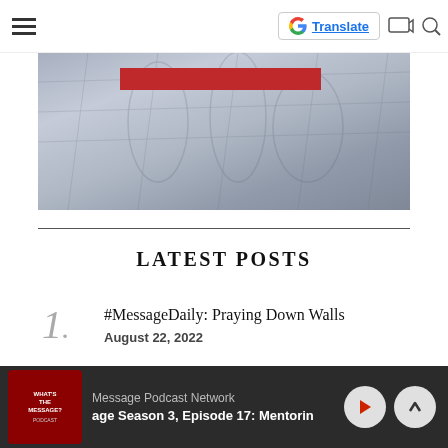Navigation header with hamburger menu and Google Translate button
[Figure (illustration): Hero image showing a historical sketch/illustration of figures with a red banner overlay]
LATEST POSTS
#MessageDaily: Praying Down Walls
August 22, 2022
#MessageDaily: Framework for Praise
August 21, 2022
Message Podcast Network — age Season 3, Episode 17: Mentorin